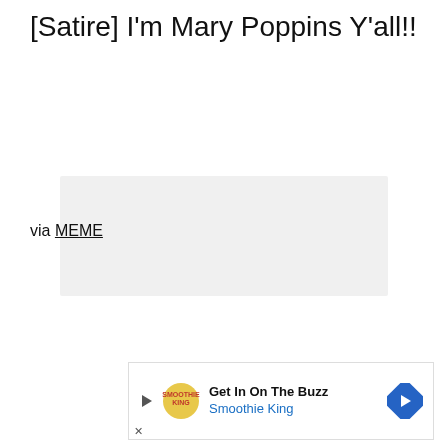[Satire] I'm Mary Poppins Y'all!!
[Figure (photo): Placeholder image area with light gray background]
via MEME
[Figure (infographic): Advertisement: Get In On The Buzz - Smoothie King]